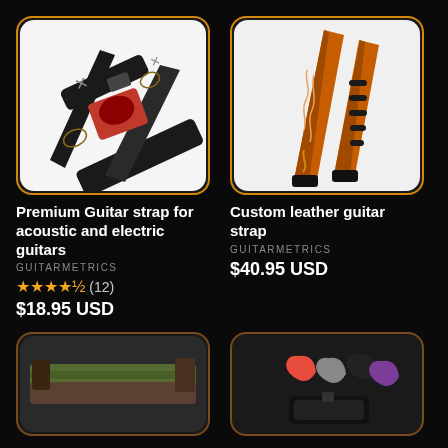[Figure (photo): Black guitar strap with rock-themed design featuring a red badge with eagle motif and cross symbols]
Premium Guitar strap for acoustic and electric guitars
GUITARMETRICS
★★★★½ (12)
$18.95 USD
[Figure (photo): Orange/tan leather guitar strap with decorative tribal flame cutout design]
Custom leather guitar strap
GUITARMETRICS
$40.95 USD
[Figure (photo): Olive green and brown woven guitar strap]
[Figure (photo): Guitar picks in various colors: red, grey, black, purple on black background]